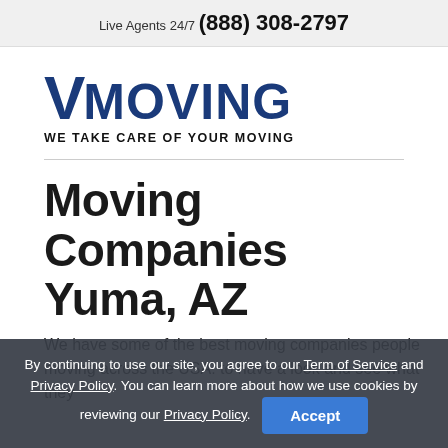Live Agents 24/7 (888) 308-2797
[Figure (logo): VMoving logo in dark blue with tagline WE TAKE CARE OF YOUR MOVING]
Moving Companies Yuma, AZ
We have some of the best moving companies people moving across the USA. to have a look and see what they
By continuing to use our site, you agree to our Term of Service and Privacy Policy. You can learn more about how we use cookies by reviewing our Privacy Policy. Accept